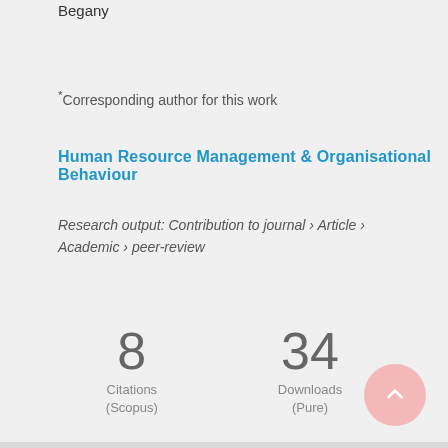Begany
*Corresponding author for this work
Human Resource Management & Organisational Behaviour
Research output: Contribution to journal › Article › Academic › peer-review
8 Citations (Scopus)
34 Downloads (Pure)